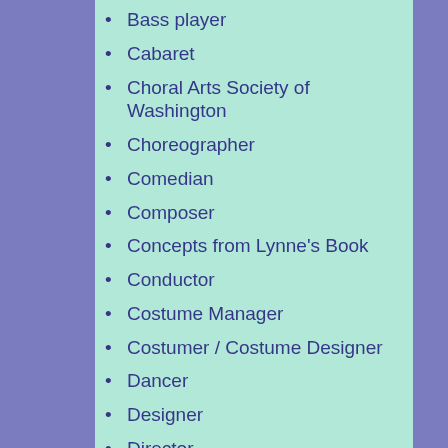Bass player
Cabaret
Choral Arts Society of Washington
Choreographer
Comedian
Composer
Concepts from Lynne's Book
Conductor
Costume Manager
Costumer / Costume Designer
Dancer
Designer
Director
educator
entrepreneur
Family Christmas Concerts at the Kennedy Center